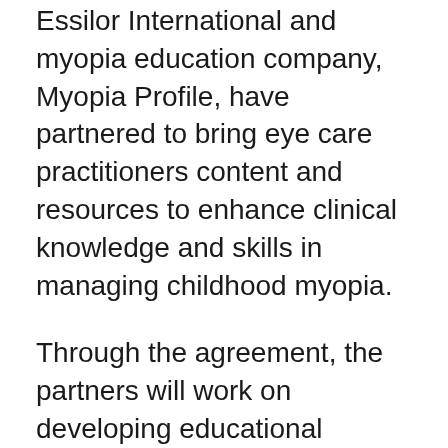Essilor International and myopia education company, Myopia Profile, have partnered to bring eye care practitioners content and resources to enhance clinical knowledge and skills in managing childhood myopia.
Through the agreement, the partners will work on developing educational content to increase the knowledge and skills of primary eye care practitioners from prescribing spectacle lenses to young children, to getting started in myopia management, clinical communication, and understanding the latest research.
The partnership will also aim to boost public awareness of the consequences of myopia, and encourage more parents to have their